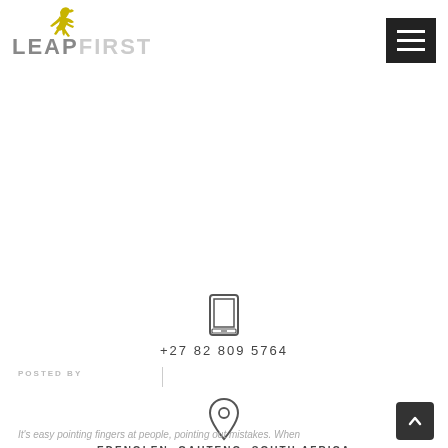[Figure (logo): LeapFirst logo with a yellow jumping figure silhouette above the text LEAP in grey and FIRST in light grey]
[Figure (illustration): Hamburger menu icon (three white horizontal bars) on dark background]
POSTED BY
[Figure (illustration): Mobile phone / tablet icon outline]
+27 82 809 5764
[Figure (illustration): Map pin / location marker icon outline]
EDENGLEN, GAUTENG, SOUTH AFRICA
It's easy pointing fingers at people, pointing out mistakes. When